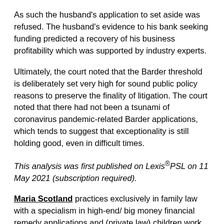As such the husband's application to set aside was refused. The husband's evidence to his bank seeking funding predicted a recovery of his business profitability which was supported by industry experts.
Ultimately, the court noted that the Barder threshold is deliberately set very high for sound public policy reasons to preserve the finality of litigation. The court noted that there had not been a tsunami of coronavirus pandemic-related Barder applications, which tends to suggest that exceptionality is still holding good, even in difficult times.
This analysis was first published on Lexis®PSL on 11 May 2021 (subscription required).
Maria Scotland practices exclusively in family law with a specialism in high-end/ big money financial remedy applications and (private law) children work. She accepts instructions to act through a solicitor or directly from members of the public on